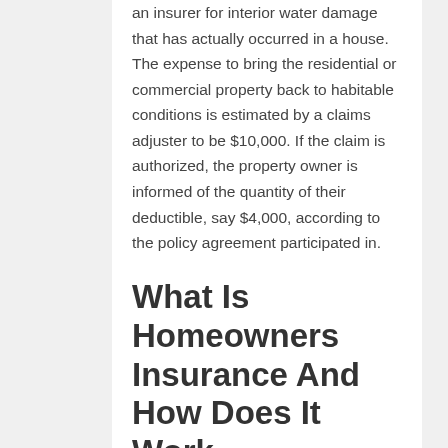an insurer for interior water damage that has actually occurred in a house. The expense to bring the residential or commercial property back to habitable conditions is estimated by a claims adjuster to be $10,000. If the claim is authorized, the property owner is informed of the quantity of their deductible, say $4,000, according to the policy agreement participated in.
What Is Homeowners Insurance And How Does It Work